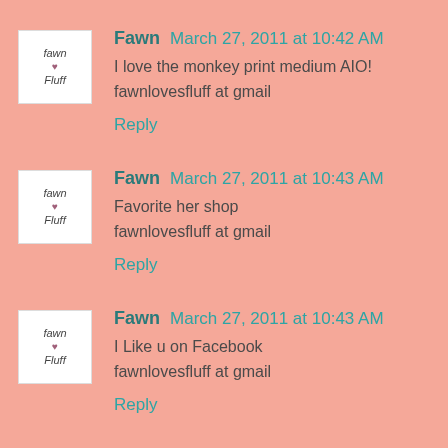Fawn March 27, 2011 at 10:42 AM
I love the monkey print medium AIO!
fawnlovesfluff at gmail
Reply
Fawn March 27, 2011 at 10:43 AM
Favorite her shop
fawnlovesfluff at gmail
Reply
Fawn March 27, 2011 at 10:43 AM
I Like u on Facebook
fawnlovesfluff at gmail
Reply